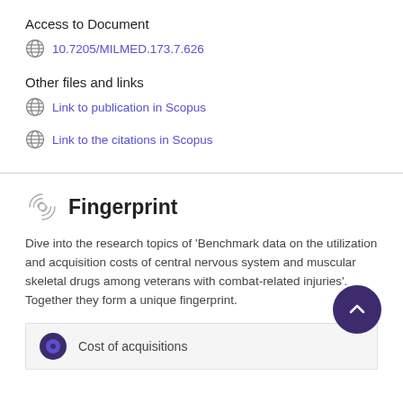Access to Document
10.7205/MILMED.173.7.626
Other files and links
Link to publication in Scopus
Link to the citations in Scopus
Fingerprint
Dive into the research topics of 'Benchmark data on the utilization and acquisition costs of central nervous system and muscular skeletal drugs among veterans with combat-related injuries'. Together they form a unique fingerprint.
Cost of acquisitions